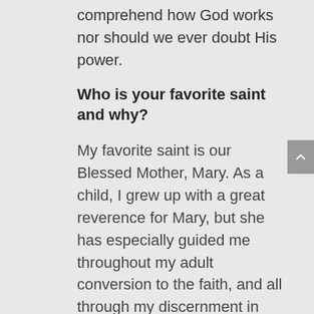comprehend how God works nor should we ever doubt His power.
Who is your favorite saint and why?
My favorite saint is our Blessed Mother, Mary. As a child, I grew up with a great reverence for Mary, but she has especially guided me throughout my adult conversion to the faith, and all through my discernment in often incredible ways. Mary is the ideal of sanctity, to be perfect is to be like Mary. Mary never doubted, always trusted and followed, and was totally devoted to our Lord. We can learn more from our Blessed Mother about Christ than any of the other saints. I highly recommend St.